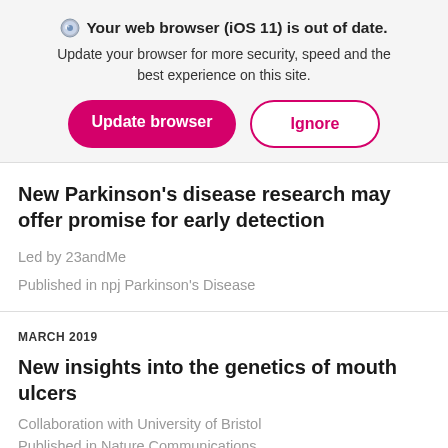Your web browser (iOS 11) is out of date. Update your browser for more security, speed and the best experience on this site.
Update browser | Ignore
New Parkinson's disease research may offer promise for early detection
Led by 23andMe
Published in npj Parkinson's Disease
MARCH 2019
New insights into the genetics of mouth ulcers
Collaboration with University of Bristol
Published in Nature Communications